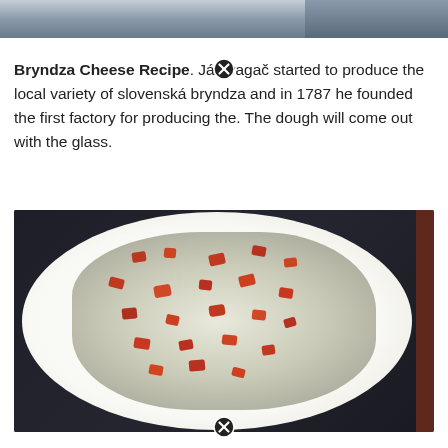[Figure (photo): Partial view of a photo at the top of the page, appears to be a cropped image edge with gray/blue tones]
Bryndza Cheese Recipe. Ján vagač started to produce the local variety of slovenská bryndza and in 1787 he founded the first factory for producing the. The dough will come out with the glass.
[Figure (photo): Photo of a white plate on a dark wooden table containing bryndza cheese (white crumbled sheep cheese) topped with diced smoked bacon pieces]